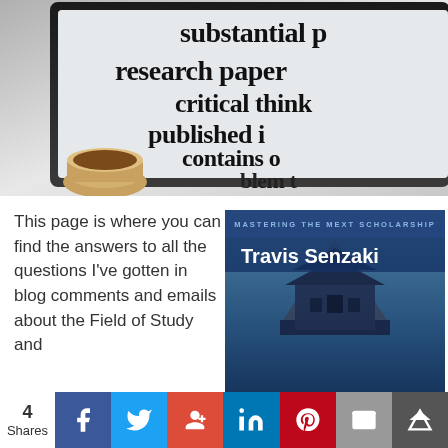[Figure (photo): Close-up photo of a tablet/e-reader showing large text with words: 'substantial p...', 'research paper', 'critical think...', 'published i...', 'contains o...', 'blem t...'. A coffee cup is visible in the lower left.]
This page is where you can find the answers to all the questions I've gotten in blog comments and emails about the Field of Study and
[Figure (photo): Book cover for 'Mastering the MEXT Scholarship' by Travis Senzaki. Blue background with image of a Japanese castle. Text: 'MASTERING THE MEXT SCHOLARSHIP' and 'Travis Senzaki' in white.]
4 Shares | Facebook | Twitter | Google+ | LinkedIn | Pinterest | Email | More